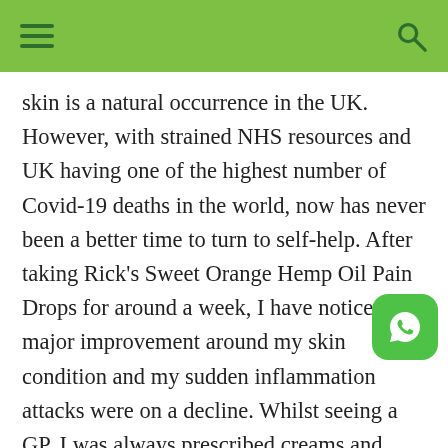skin is a natural occurrence in the UK. However, with strained NHS resources and UK having one of the highest number of Covid-19 deaths in the world, now has never been a better time to turn to self-help. After taking Rick's Sweet Orange Hemp Oil Pain Drops for around a week, I have noticed a major improvement around my skin condition and my sudden inflammation attacks were on a decline. Whilst seeing a GP, I was always prescribed creams and topicals. However, I was always of the view that my skin condition was caused something within the inside of my body rather than externally. Rick's Sweet Orange Hemp Oil Pain Drops have played an important role in combatting the inflammation of my skin by combining the collective
[Figure (logo): WhatsApp floating button icon]